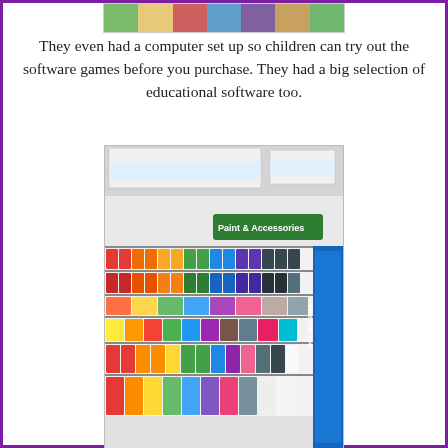[Figure (photo): Partial top view of a photo showing colorful items, cropped at page top]
They even had a computer set up so children can try out the software games before you purchase. They had a big selection of educational software too.
[Figure (photo): Photo of a store aisle showing a 'Paint & Accessories' section with shelves full of colorful paint bottles arranged by color in a rainbow pattern]